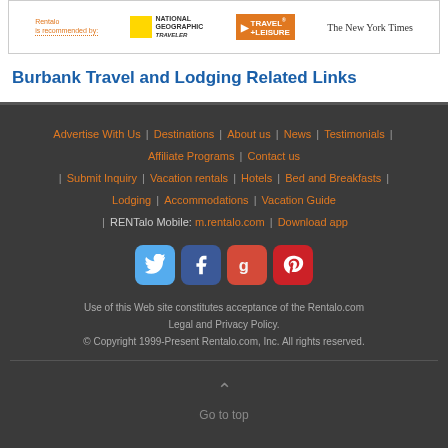[Figure (logo): Rentalo recommended by logos: National Geographic Traveler, Travel+Leisure, The New York Times]
Burbank Travel and Lodging Related Links
Advertise With Us | Destinations | About us | News | Testimonials | Affiliate Programs | Contact us | Submit Inquiry | Vacation rentals | Hotels | Bed and Breakfasts | Lodging | Accommodations | Vacation Guide | RENTalo Mobile: m.rentalo.com | Download app
[Figure (illustration): Social media icons: Twitter, Facebook, Google+, Pinterest]
Use of this Web site constitutes acceptance of the Rentalo.com Legal and Privacy Policy.
© Copyright 1999-Present Rentalo.com, Inc. All rights reserved.
Go to top